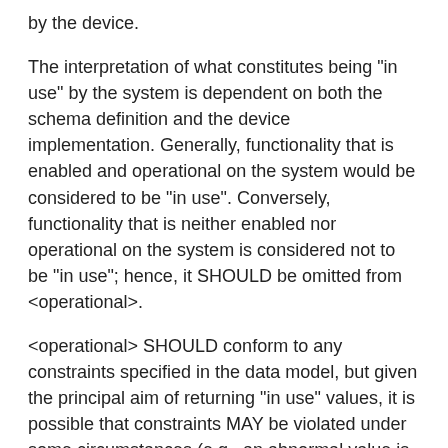by the device.
The interpretation of what constitutes being "in use" by the system is dependent on both the schema definition and the device implementation. Generally, functionality that is enabled and operational on the system would be considered to be "in use". Conversely, functionality that is neither enabled nor operational on the system is considered not to be "in use"; hence, it SHOULD be omitted from <operational>.
<operational> SHOULD conform to any constraints specified in the data model, but given the principal aim of returning "in use" values, it is possible that constraints MAY be violated under some circumstances (e.g., an abnormal value is "in use", the structure of a list is being modified, or remnant configuration (see Section 5.3.1) still exists). Note that deviations SHOULD be used when it is known in advance that a device does not fully conform to the <operational> schema.